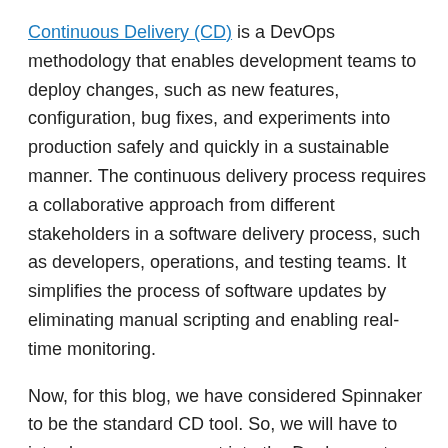Continuous Delivery (CD) is a DevOps methodology that enables development teams to deploy changes, such as new features, configuration, bug fixes, and experiments into production safely and quickly in a sustainable manner. The continuous delivery process requires a collaborative approach from different stakeholders in a software delivery process, such as developers, operations, and testing teams. It simplifies the process of software updates by eliminating manual scripting and enabling real-time monitoring.
Now, for this blog, we have considered Spinnaker to be the standard CD tool. So, we will have to introduce a new concept into the Deployment process called Bake. Note that Bake is only for Spinnaker and other CD tools don't have this step.